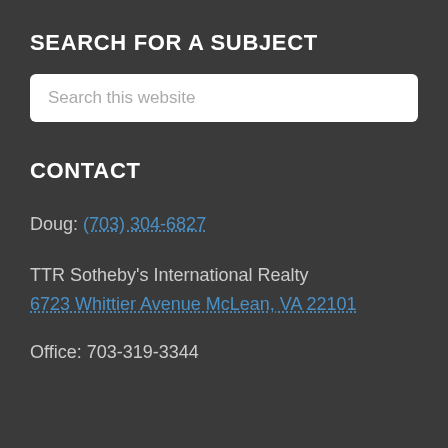SEARCH FOR A SUBJECT
Search this website
CONTACT
Doug: (703) 304-6827
TTR Sotheby's International Realty
6723 Whittier Avenue McLean, VA 22101
Office: 703-319-3344